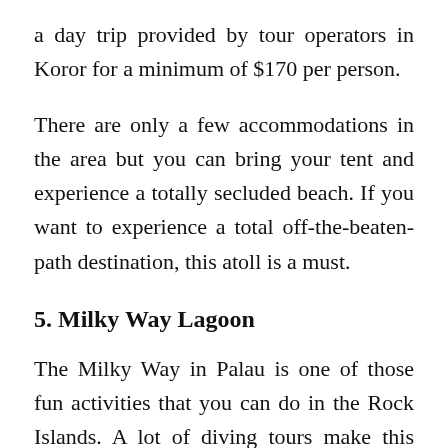a day trip provided by tour operators in Koror for a minimum of $170 per person.
There are only a few accommodations in the area but you can bring your tent and experience a totally secluded beach. If you want to experience a total off-the-beaten-path destination, this atoll is a must.
5. Milky Way Lagoon
The Milky Way in Palau is one of those fun activities that you can do in the Rock Islands. A lot of diving tours make this place their first stop. Aside from the gorgeous turquoise water in the